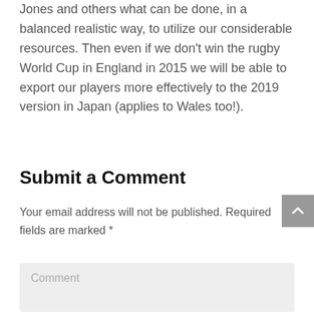Jones and others what can be done, in a balanced realistic way, to utilize our considerable resources. Then even if we don't win the rugby World Cup in England in 2015 we will be able to export our players more effectively to the 2019 version in Japan (applies to Wales too!).
Submit a Comment
Your email address will not be published. Required fields are marked *
Comment